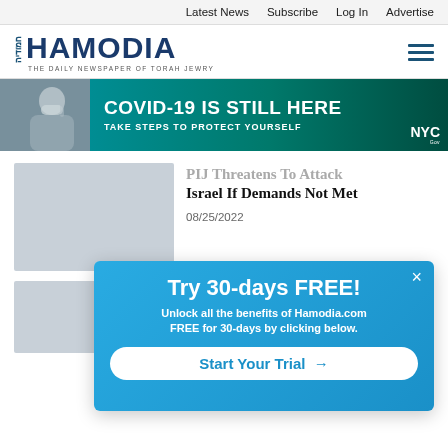Latest News  Subscribe  Log In  Advertise
[Figure (logo): Hamodia newspaper logo with Hebrew text and tagline 'The Daily Newspaper of Torah Jewry']
[Figure (photo): NYC health advertisement banner: COVID-19 IS STILL HERE - TAKE STEPS TO PROTECT YOURSELF, with image of person wearing mask]
PIJ Threatens To Attack Israel If Demands Not Met
08/25/2022
[Figure (photo): Gray placeholder thumbnail for article image]
[Figure (photo): Gray placeholder thumbnail for second article]
Try 30-days FREE! Unlock all the benefits of Hamodia.com FREE for 30-days by clicking below. Start Your Trial →